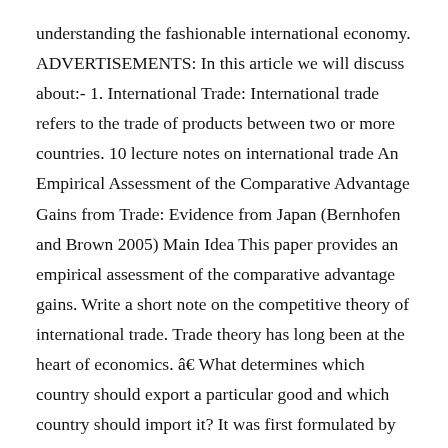understanding the fashionable international economy. ADVERTISEMENTS: In this article we will discuss about:- 1. International Trade: International trade refers to the trade of products between two or more countries. 10 lecture notes on international trade An Empirical Assessment of the Comparative Advantage Gains from Trade: Evidence from Japan (Bernhofen and Brown 2005) Main Idea This paper provides an empirical assessment of the comparative advantage gains. Write a short note on the competitive theory of international trade. Trade theory has long been at the heart of economics. â€‍ What determines which country should export a particular good and which country should import it? It was first formulated by Swedish economist Heckscher in 1919 [â€¦] This starts from also understanding how different nations trade with one another with respect to history. the "Interna- 6 main theories of international trade . International trade theories help countries in deciding what should be imported and what should be exported, in what quantity and with whom trade should be done internationally. Adam Smith, the father of modern economics, identified the division of labour as the key